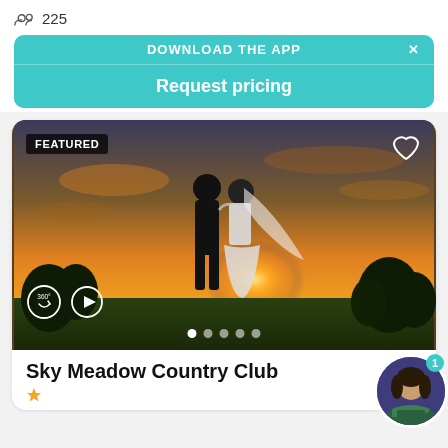225
DOWNLOAD THE APP
Request pricing
[Figure (photo): Wedding couple silhouetted against a golden sunset sky, bride in white gown with veil, groom in dark suit, trees in background, with FEATURED badge, 360° and play icons, carousel dots, and heart icon overlay]
Sky Meadow Country Club